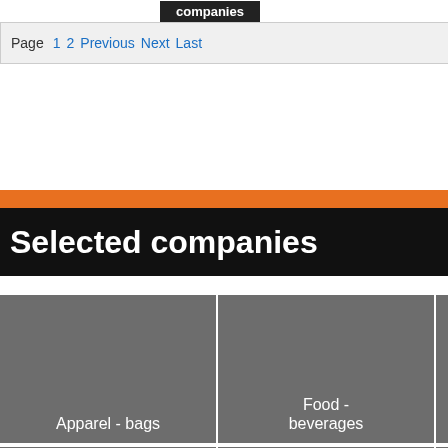companies
Page 1 2 Previous Next Last
restaurants, hotel restaurants 5 continents
tourism reservations, gds, ids, crs, vortals
trade fairs organizers & venues, booth supply
virtual tours, dvd, image banks, photographers
ftware, agencies, providers, nections
Selected companies
Apparel - bags
Food - beverages
Silver - gold
Gift - gadget
Pens - stationery
Computer - accessories